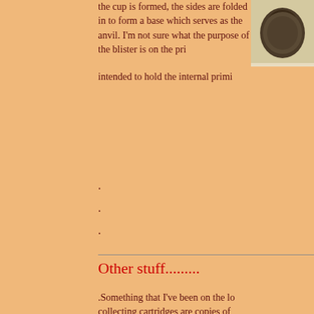the cup is formed, the sides are folded in to form a base which serves as the anvil. I'm not sure what the purpose of the blister is on the pri... intended to hold the internal primi...
[Figure (photo): A dark brown ceramic or metal cup/vessel object photographed from the side against a white background.]
.
.
.
Other stuff.........
.Something that I've been on the lo... collecting cartridges are copies of ... They don't often show up for sale, ... pricey for my budget, but occasion... What is great about these is that th... correspondence regarding the deve... Department of the Army for each f... interested in information about the... usually something of interest ea...